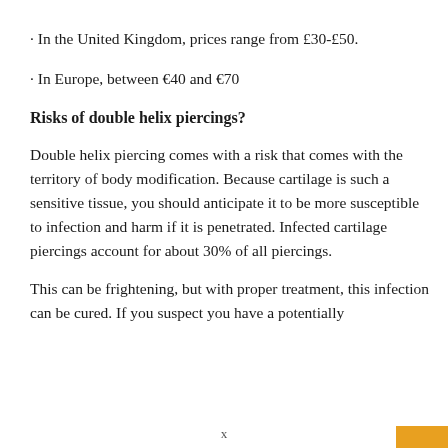· In the United Kingdom, prices range from £30-£50.
· In Europe, between €40 and €70
Risks of double helix piercings?
Double helix piercing comes with a risk that comes with the territory of body modification. Because cartilage is such a sensitive tissue, you should anticipate it to be more susceptible to infection and harm if it is penetrated. Infected cartilage piercings account for about 30% of all piercings.
This can be frightening, but with proper treatment, this infection can be cured. If you suspect you have a potentially